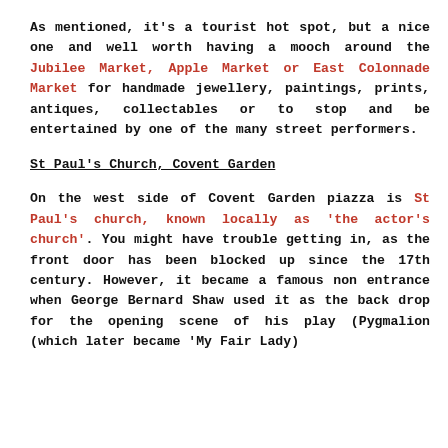As mentioned, it's a tourist hot spot, but a nice one and well worth having a mooch around the Jubilee Market, Apple Market or East Colonnade Market for handmade jewellery, paintings, prints, antiques, collectables or to stop and be entertained by one of the many street performers.
St Paul's Church, Covent Garden
On the west side of Covent Garden piazza is St Paul's church, known locally as 'the actor's church'. You might have trouble getting in, as the front door has been blocked up since the 17th century. However, it became a famous non entrance when George Bernard Shaw used it as the back drop for the opening scene of his play (Pygmalion (which later became 'My Fair Lady)